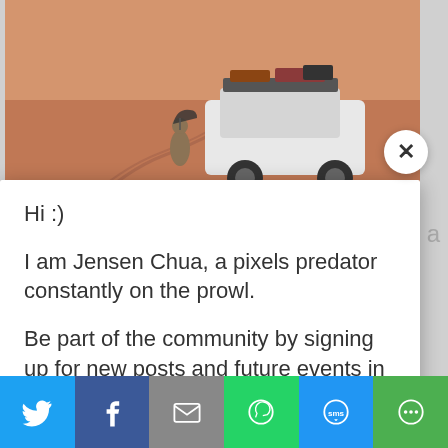[Figure (photo): Aerial/top view of a desert scene with a white SUV loaded with luggage on roof rack, and a person standing nearby. Sandy terrain with tire tracks visible.]
Hi :)
I am Jensen Chua, a pixels predator constantly on the prowl.
Be part of the community by signing up for new posts and future events in Singapore!
Email *
hello@gmail.com
Subscribe
[Figure (screenshot): Social sharing bar with Twitter, Facebook, Email, WhatsApp, SMS, and More buttons]